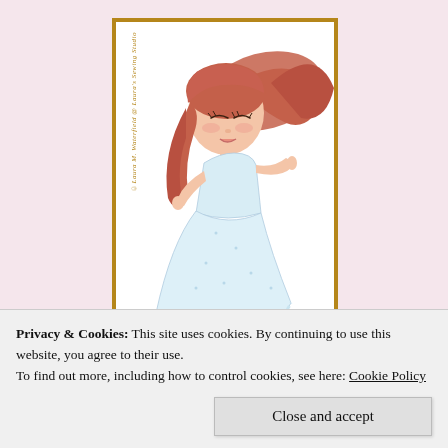[Figure (illustration): Illustration of a girl with long flowing reddish-brown hair in a white/light blue sparkly dress that flares out, wearing blue shoes. The girl is posed dynamically with hair blowing to one side. Vertical watermark text on the left side reads '©Laura M. Waterfield @ Laura's Sewing Studio'. Framed with a gold/brown border on white background.]
Privacy & Cookies: This site uses cookies. By continuing to use this website, you agree to their use.
To find out more, including how to control cookies, see here: Cookie Policy
Close and accept